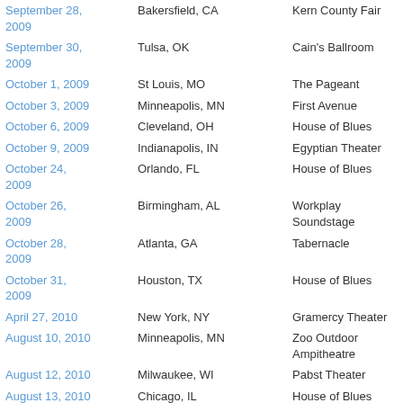| Date | City | Venue |
| --- | --- | --- |
| September 28, 2009 | Bakersfield, CA | Kern County Fair |
| September 30, 2009 | Tulsa, OK | Cain's Ballroom |
| October 1, 2009 | St Louis, MO | The Pageant |
| October 3, 2009 | Minneapolis, MN | First Avenue |
| October 6, 2009 | Cleveland, OH | House of Blues |
| October 9, 2009 | Indianapolis, IN | Egyptian Theater |
| October 24, 2009 | Orlando, FL | House of Blues |
| October 26, 2009 | Birmingham, AL | Workplay Soundstage |
| October 28, 2009 | Atlanta, GA | Tabernacle |
| October 31, 2009 | Houston, TX | House of Blues |
| April 27, 2010 | New York, NY | Gramercy Theater |
| August 10, 2010 | Minneapolis, MN | Zoo Outdoor Ampitheatre |
| August 12, 2010 | Milwaukee, WI | Pabst Theater |
| August 13, 2010 | Chicago, IL | House of Blues |
| August 16, 2010 | Grand Rapids, MI | Intersection |
| August 23, 2010 | Cincinnati, OH | Moonlight Gardens |
| September 21... |  |  |